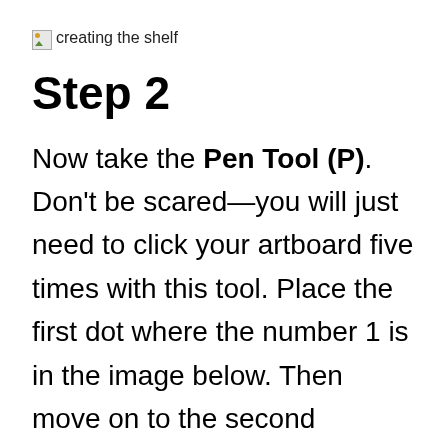creating the shelf
Step 2
Now take the Pen Tool (P). Don't be scared—you will just need to click your artboard five times with this tool. Place the first dot where the number 1 is in the image below. Then move on to the second position, then the third and the fourth. The fifth dot has to be exactly where the